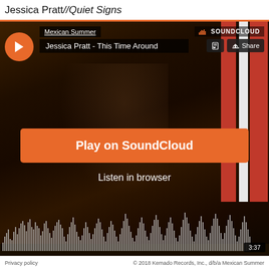Jessica Pratt//Quiet Signs
[Figure (screenshot): SoundCloud embedded player showing Jessica Pratt - This Time Around, with play button, track title, Mexican Summer label, SoundCloud branding, Play on SoundCloud button, Listen in browser link, audio waveform, and 3:37 duration marker]
Privacy policy   © 2018 Kemado Records, Inc., d/b/a Mexican Summer